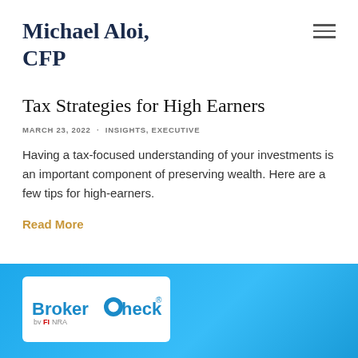Michael Aloi, CFP
Tax Strategies for High Earners
MARCH 23, 2022 · INSIGHTS, EXECUTIVE
Having a tax-focused understanding of your investments is an important component of preserving wealth. Here are a few tips for high-earners.
Read More
[Figure (logo): BrokerCheck by FINRA logo on a white card, set against a blue background banner.]